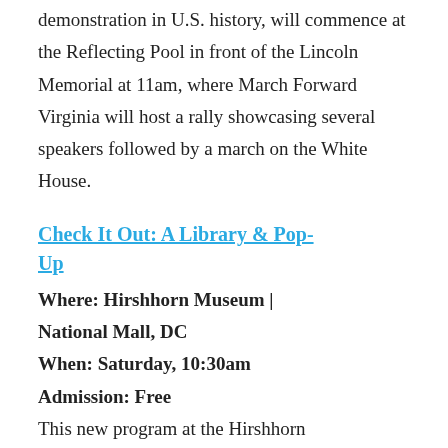demonstration in U.S. history, will commence at the Reflecting Pool in front of the Lincoln Memorial at 11am, where March Forward Virginia will host a rally showcasing several speakers followed by a march on the White House.
Check It Out: A Library & Pop-Up
Where: Hirshhorn Museum | National Mall, DC
When: Saturday, 10:30am
Admission: Free
This new program at the Hirshhorn helps children experience the Museum. Find the cart in the galleries and check out a fun kit full of favorite finds for kids. Each kit is